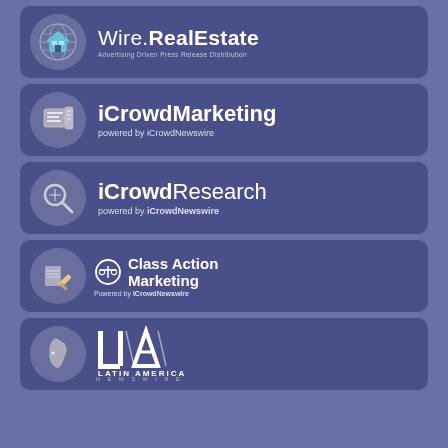[Figure (logo): Wire.RealEstate logo — globe icon with house, text 'Wire.RealEstate' and tagline 'Advertising Driven Press Release Distribution']
[Figure (logo): iCrowdMarketing logo — newspaper/clipboard icon, text 'iCrowdMarketing powered by iCrowdNewswire']
[Figure (logo): iCrowdResearch logo — magnifying glass icon, text 'iCrowdResearch powered by iCrowdNewswire']
[Figure (logo): Class Action Marketing logo — scales of justice icon, text 'Class Action Marketing Powered by ICrowdNewswire']
[Figure (logo): Latin America Newswire logo — map of South America icon, ILA logo mark, text 'LATIN AMERICA NEWSWIRE']